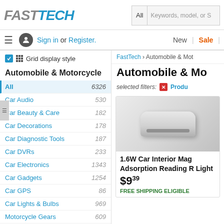[Figure (logo): FastTech logo with FAST in gray and TECH in blue]
All  Keywords, model, or S
Sign in or Register.
New  Sale
Grid display style
Automobile & Motorcycle
FastTech › Automobile & Mot
Automobile & Mo
selected filters: Produ
| Category | Count |
| --- | --- |
| All | 6326 |
| Car Audio | 530 |
| Car Beauty & Care | 182 |
| Car Decorations | 178 |
| Car Diagnostic Tools | 187 |
| Car DVRs | 233 |
| Car Electronics | 1343 |
| Car Gadgets | 1254 |
| Car GPS | 86 |
| Car Lights & Bulbs | 969 |
| Motorcycle Gears | 609 |
| Safety & Security | 160 |
| Tesla DIY Parts | 342 |
| Tools & Equipment | 253 |
[Figure (photo): Car interior reading light product photo - white/gray rectangular lamp]
1.6W Car Interior Mag Adsorption Reading R Light
$9.39
FREE SHIPPING ELIGIBLE